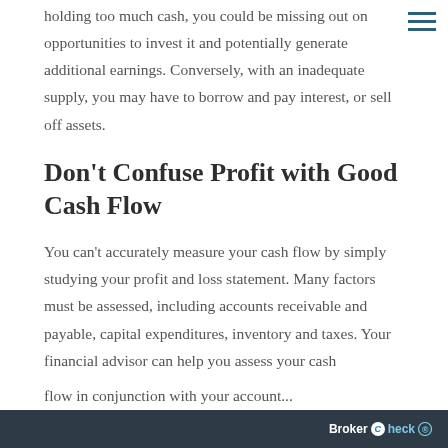holding too much cash, you could be missing out on opportunities to invest it and potentially generate additional earnings. Conversely, with an inadequate supply, you may have to borrow and pay interest, or sell off assets.
Don't Confuse Profit with Good Cash Flow
You can't accurately measure your cash flow by simply studying your profit and loss statement. Many factors must be assessed, including accounts receivable and payable, capital expenditures, inventory and taxes. Your financial advisor can help you assess your cash flow in conjunction with your accountant...
BrokerCheck